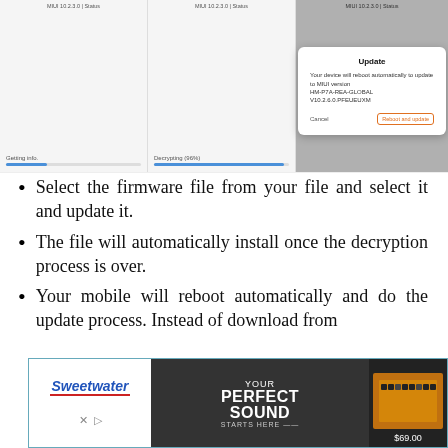[Figure (screenshot): Three smartphone screenshots showing firmware update process: left panel shows 'Getting info' progress, middle panel shows 'Decrypting (96%)' progress bar, right panel shows an 'Update' dialog box stating 'Your device will reboot automatically to update to MIUI version HM-P7A-REA-GLOBAL V10.2.6.0.PFEUEUXM' with Cancel and Reboot and update buttons.]
Select the firmware file from your file and select it and update it.
The file will automatically install once the decryption process is over.
Your mobile will reboot automatically and do the update process. Instead of download from
[Figure (screenshot): Advertisement banner for Sweetwater audio equipment store showing 'YOUR PERFECT SOUND STARTS HERE' text and a product priced at $69.00]